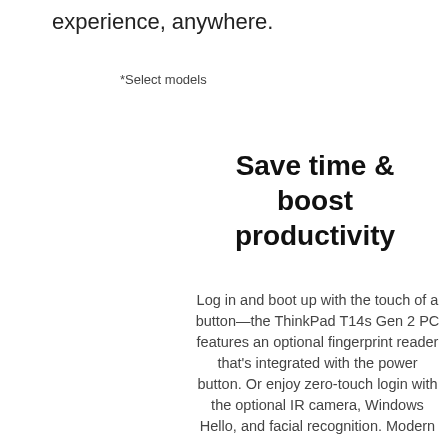experience, anywhere.
*Select models
Save time & boost productivity
Log in and boot up with the touch of a button—the ThinkPad T14s Gen 2 PC features an optional fingerprint reader that's integrated with the power button. Or enjoy zero-touch login with the optional IR camera, Windows Hello, and facial recognition. Modern